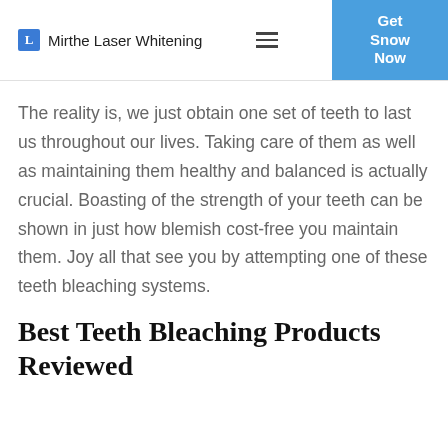Mirthe Laser Whitening | Get Snow Now
The reality is, we just obtain one set of teeth to last us throughout our lives. Taking care of them as well as maintaining them healthy and balanced is actually crucial. Boasting of the strength of your teeth can be shown in just how blemish cost-free you maintain them. Joy all that see you by attempting one of these teeth bleaching systems.
Best Teeth Bleaching Products Reviewed